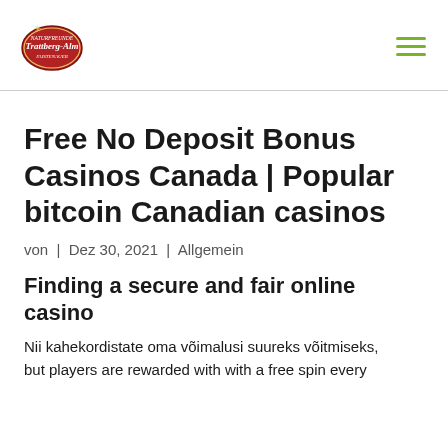Trattberg-Alm [logo] [hamburger menu]
Free No Deposit Bonus Casinos Canada | Popular bitcoin Canadian casinos
von | Dez 30, 2021 | Allgemein
Finding a secure and fair online casino
Nii kahekordistate oma võimalusi suureks võitmiseks, but players are rewarded with with a free spin every